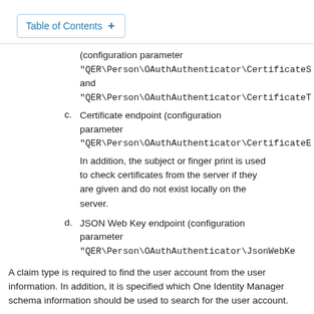Table of Contents +
(configuration parameter "QER\Person\OAuthAuthenticator\CertificateS and "QER\Person\OAuthAuthenticator\CertificateT
c. Certificate endpoint (configuration parameter "QER\Person\OAuthAuthenticator\CertificateE
In addition, the subject or finger print is used to check certificates from the server if they are given and do not exist locally on the server.
d. JSON Web Key endpoint (configuration parameter "QER\Person\OAuthAuthenticator\JsonWebKe
A claim type is required to find the user account from the user information. In addition, it is specified which One Identity Manager schema information should be used to search for the user account.
Authentication through OpenID is built on OAuth. OpenID Connection authentication uses the same mechanisms, but make user claims available either in an ID token or through a UserInfo endpoint. Other